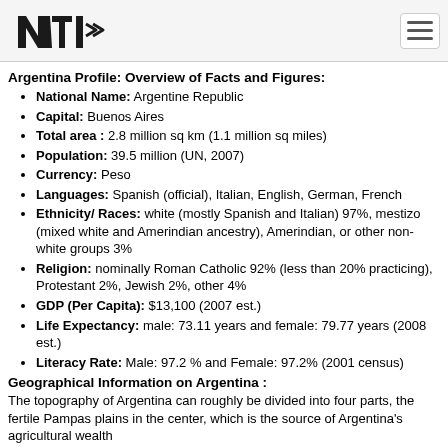NTI logo and navigation
Argentina Profile: Overview of Facts and Figures:
National Name: Argentine Republic
Capital: Buenos Aires
Total area : 2.8 million sq km (1.1 million sq miles)
Population: 39.5 million (UN, 2007)
Currency: Peso
Languages: Spanish (official), Italian, English, German, French
Ethnicity/ Races: white (mostly Spanish and Italian) 97%, mestizo (mixed white and Amerindian ancestry), Amerindian, or other non-white groups 3%
Religion: nominally Roman Catholic 92% (less than 20% practicing), Protestant 2%, Jewish 2%, other 4%
GDP (Per Capita): $13,100 (2007 est.)
Life Expectancy: male: 73.11 years and female: 79.77 years (2008 est.)
Literacy Rate: Male: 97.2 % and Female: 97.2% (2001 census)
Geographical Information on Argentina :
The topography of Argentina can roughly be divided into four parts, the fertile Pampas plains in the center, which is the source of Argentina's agricultural wealth